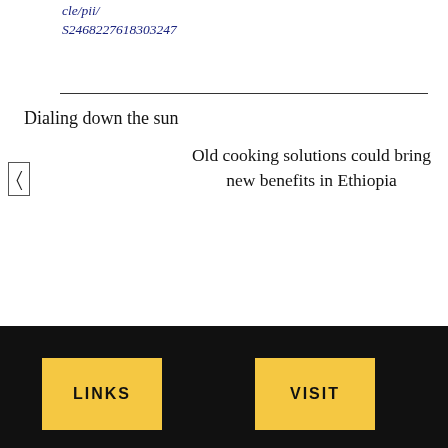cle/pii/
S2468227618303247
Dialing down the sun
Old cooking solutions could bring new benefits in Ethiopia
LINKS   VISIT